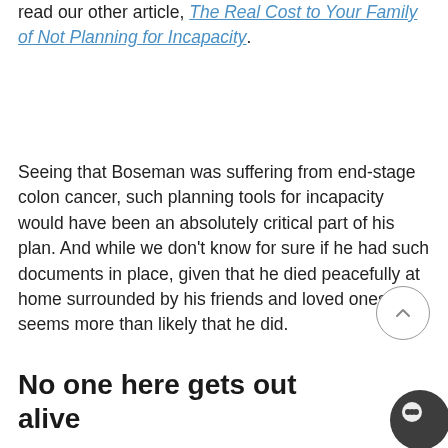read our other article, The Real Cost to Your Family of Not Planning for Incapacity.
Seeing that Boseman was suffering from end-stage colon cancer, such planning tools for incapacity would have been an absolutely critical part of his plan. And while we don't know for sure if he had such documents in place, given that he died peacefully at home surrounded by his friends and loved ones, it seems more than likely that he did.
No one here gets out alive